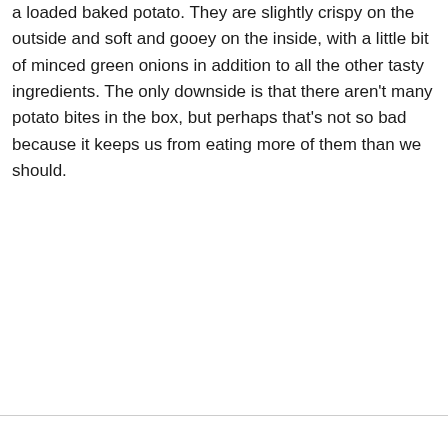a loaded baked potato. They are slightly crispy on the outside and soft and gooey on the inside, with a little bit of minced green onions in addition to all the other tasty ingredients. The only downside is that there aren't many potato bites in the box, but perhaps that's not so bad because it keeps us from eating more of them than we should.